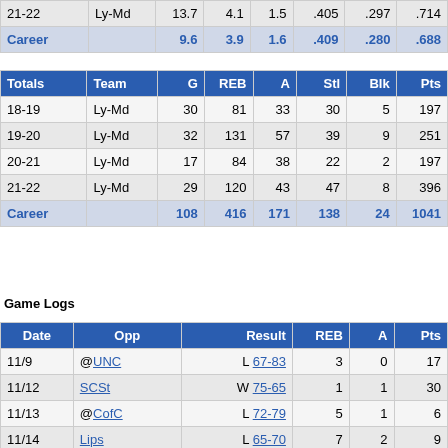|  | Team | G | REB | A | Stl | Blk | Pts |
| --- | --- | --- | --- | --- | --- | --- | --- |
| 21-22 | Ly-Md | 13.7 | 4.1 | 1.5 | .405 | .297 | .714 |
| Career |  | 9.6 | 3.9 | 1.6 | .409 | .280 | .688 |
| Totals | Team | G | REB | A | Stl | Blk | Pts |
| --- | --- | --- | --- | --- | --- | --- | --- |
| 18-19 | Ly-Md | 30 | 81 | 33 | 30 | 5 | 197 |
| 19-20 | Ly-Md | 32 | 131 | 57 | 39 | 9 | 251 |
| 20-21 | Ly-Md | 17 | 84 | 38 | 22 | 2 | 197 |
| 21-22 | Ly-Md | 29 | 120 | 43 | 47 | 8 | 396 |
| Career |  | 108 | 416 | 171 | 138 | 24 | 1041 |
Game Logs
| Date | Opp | Result | REB | A | Pts |
| --- | --- | --- | --- | --- | --- |
| 11/9 | @UNC | L 67-83 | 3 | 0 | 17 |
| 11/12 | SCSt | W 75-65 | 1 | 1 | 30 |
| 11/13 | @CofC | L 72-79 | 5 | 1 | 6 |
| 11/14 | Lips | L 65-70 | 7 | 2 | 9 |
| 11/17 | @Coppin | L 49-71 | 5 | 0 | 6 |
| 11/24 | Ebthtn | W 69-42 | 1 | 3 | 10 |
| 11/28 | @Fair | W 75-70 | 3 | 3 | 8 |